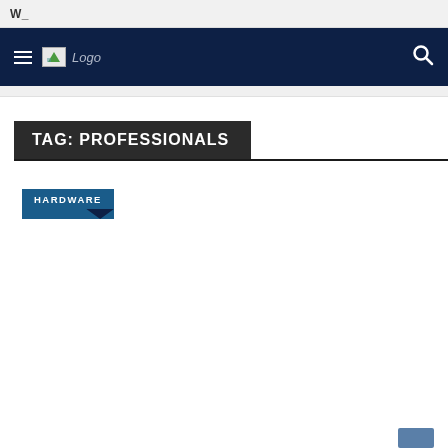W_
[Figure (screenshot): Website navigation bar with dark navy background, hamburger menu icon, logo image placeholder, Logo text, and search icon on the right]
TAG: PROFESSIONALS
HARDWARE